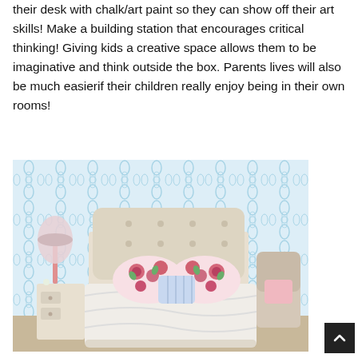their desk with chalk/art paint so they can show off their art skills! Make a building station that encourages critical thinking! Giving kids a creative space allows them to be imaginative and think outside the box. Parents lives will also be much easierif their children really enjoy being in their own rooms!
[Figure (photo): A girl's bedroom with a tufted upholstered headboard, floral pink and white pillows, white ruffled bedding, a pink lamp on a white nightstand, and a light blue damask patterned wallpaper in the background.]